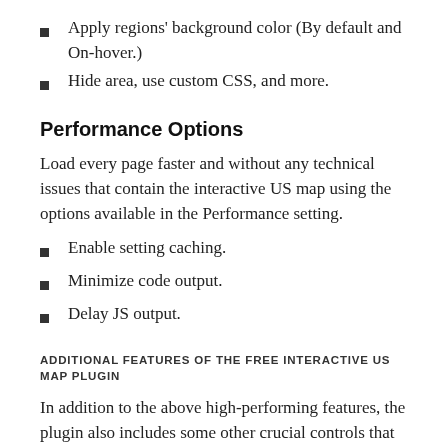Apply regions' background color (By default and On-hover.)
Hide area, use custom CSS, and more.
Performance Options
Load every page faster and without any technical issues that contain the interactive US map using the options available in the Performance setting.
Enable setting caching.
Minimize code output.
Delay JS output.
ADDITIONAL FEATURES OF THE FREE INTERACTIVE US MAP PLUGIN
In addition to the above high-performing features, the plugin also includes some other crucial controls that complete the plugin in all the senses. Features like